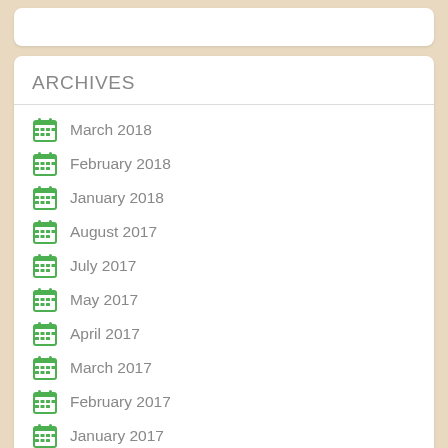ARCHIVES
March 2018
February 2018
January 2018
August 2017
July 2017
May 2017
April 2017
March 2017
February 2017
January 2017
December 2016
November 2016